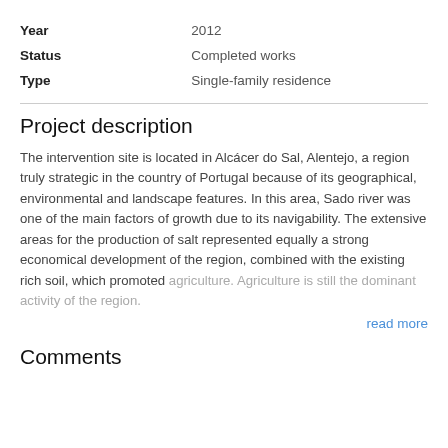| Year | 2012 |
| Status | Completed works |
| Type | Single-family residence |
Project description
The intervention site is located in Alcácer do Sal, Alentejo, a region truly strategic in the country of Portugal because of its geographical, environmental and landscape features. In this area, Sado river was one of the main factors of growth due to its navigability. The extensive areas for the production of salt represented equally a strong economical development of the region, combined with the existing rich soil, which promoted agriculture. Agriculture is still the dominant activity of the region.
read more
Comments